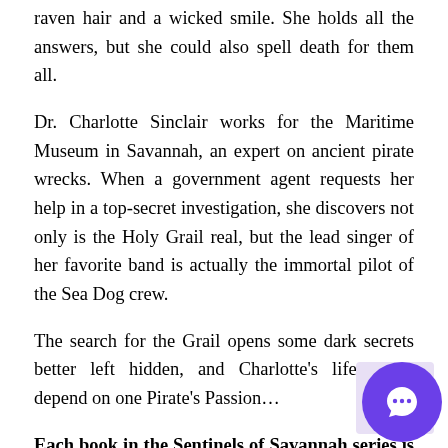raven hair and a wicked smile. She holds all the answers, but she could also spell death for them all.
Dr. Charlotte Sinclair works for the Maritime Museum in Savannah, an expert on ancient pirate wrecks. When a government agent requests her help in a top-secret investigation, she discovers not only is the Holy Grail real, but the lead singer of her favorite band is actually the immortal pilot of the Sea Dog crew.
The search for the Grail opens some dark secrets better left hidden, and Charlotte’s life might depend on one Pirate’s Passion…
Each book in the Sentinels of Savannah series is STANDALONE:
* Magnolia Mystic
* Pirate’s Passion